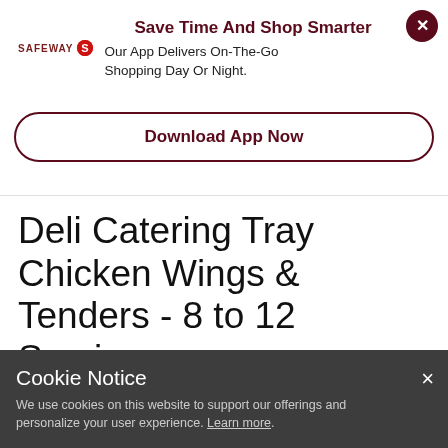[Figure (logo): Safeway logo with red circle icon]
Save Time And Shop Smarter
Our App Delivers On-The-Go Shopping Day Or Night.
Download App Now
Deli Catering Tray Chicken Wings & Tenders - 8 to 12 Servings
Shopping Options for 94611  Change ZIP
Cookie Notice
We use cookies on this website to support our offerings and personalize your user experience. Learn more.